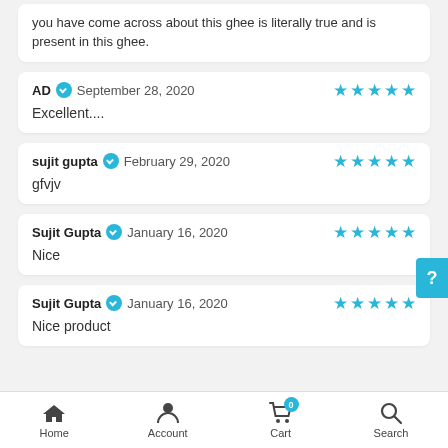you have come across about this ghee is literally true and is present in this ghee.
AD  September 28, 2020 — ★★★★★ — Excellent....
sujit gupta  February 29, 2020 — ★★★★★ — gfvjv
Sujit Gupta  January 16, 2020 — ★★★★★ — Nice
Sujit Gupta  January 16, 2020 — ★★★★★ — Nice product
Home  Account  Cart  Search